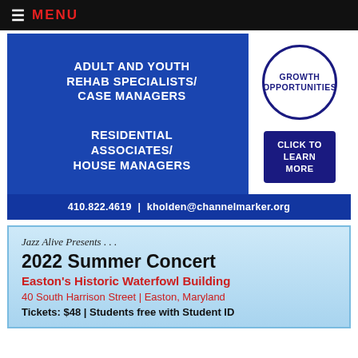≡ MENU
[Figure (infographic): Channel Marker job advertisement. Blue background with white bold text listing job positions: Adult and Youth Rehab Specialists/Case Managers, Residential Associates/House Managers. White sidebar with circular badge reading GROWTH OPPORTUNITIES and dark button reading CLICK TO LEARN MORE. Footer bar: 410.822.4619 | kholden@channelmarker.org]
[Figure (infographic): Jazz Alive 2022 Summer Concert advertisement. Light blue gradient background. Text: Jazz Alive Presents... 2022 Summer Concert. Easton's Historic Waterfowl Building. 40 South Harrison Street | Easton, Maryland. Tickets: $48 | Students free with Student ID]